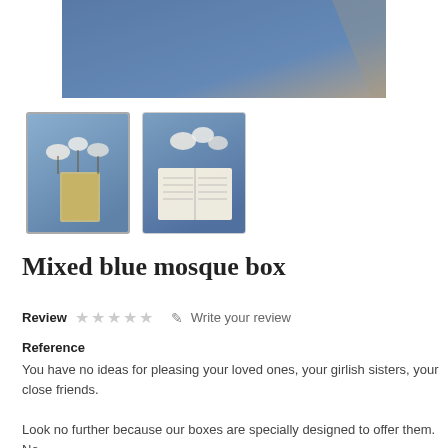[Figure (photo): Main product image showing blue velvet fabric on a light background]
[Figure (photo): Thumbnail 1: blue fabric with a small Quran book and white flowers (selected)]
[Figure (photo): Thumbnail 2: open Quran book on blue fabric with white flowers]
Mixed blue mosque box
Review ★★★★★ Write your review
Reference
You have no ideas for pleasing your loved ones, your girlish sisters, your close friends.
Look no further because our boxes are specially designed to offer them. No